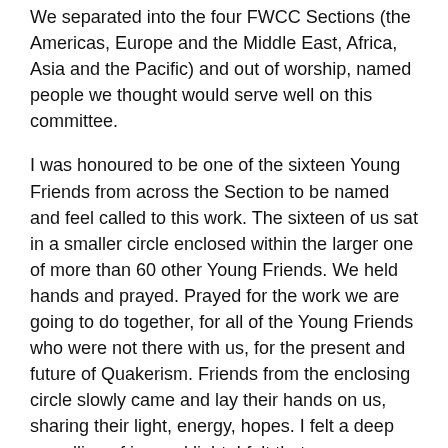We separated into the four FWCC Sections (the Americas, Europe and the Middle East, Africa, Asia and the Pacific) and out of worship, named people we thought would serve well on this committee.
I was honoured to be one of the sixteen Young Friends from across the Section to be named and feel called to this work. The sixteen of us sat in a smaller circle enclosed within the larger one of more than 60 other Young Friends. We held hands and prayed. Prayed for the work we are going to do together, for all of the Young Friends who were not there with us, for the present and future of Quakerism. Friends from the enclosing circle slowly came and lay their hands on us, sharing their light, energy, hopes. I felt a deep upwelling of joy and light. I felt that same sensation of being held that I had up on that sacred mountain.
Thank you to those who were holding us in the light, to those who supported us in ways immeasurable, and those who will continue to support us in this work. I look forward to what is to come. To living the transformation. To living